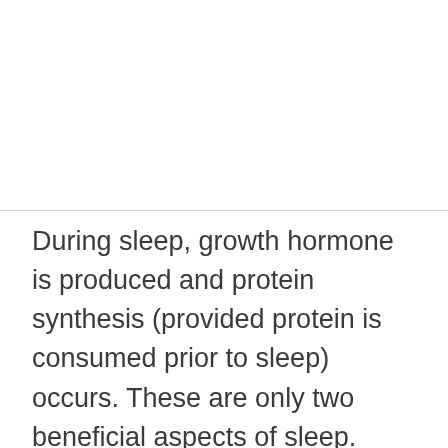During sleep, growth hormone is produced and protein synthesis (provided protein is consumed prior to sleep) occurs. These are only two beneficial aspects of sleep. Energy consumption reduction and brain cell restoration are two other aspects equally important for bodybuilders.